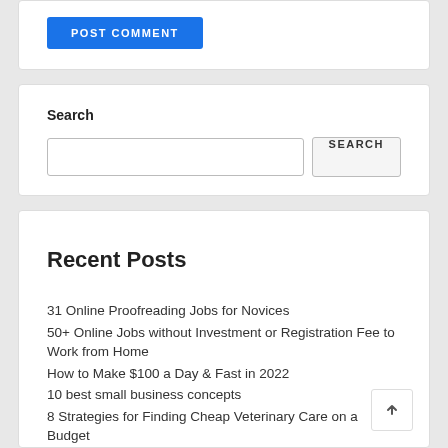POST COMMENT
Search
Recent Posts
31 Online Proofreading Jobs for Novices
50+ Online Jobs without Investment or Registration Fee to Work from Home
How to Make $100 a Day & Fast in 2022
10 best small business concepts
8 Strategies for Finding Cheap Veterinary Care on a Budget